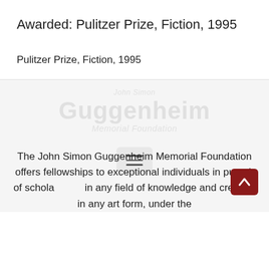Awarded: Pulitzer Prize, Fiction, 1995
Pulitzer Prize, Fiction, 1995
[Figure (logo): Watermark logo of John Simon Guggenheim Memorial Foundation in light gray]
The John Simon Guggenheim Memorial Foundation offers fellowships to exceptional individuals in pursuit of scholarship in any field of knowledge and creation in any art form, under the